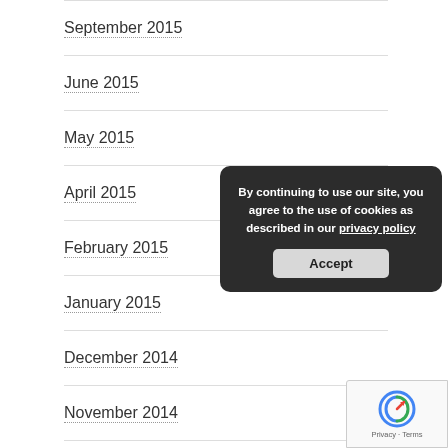September 2015
June 2015
May 2015
April 2015
February 2015
January 2015
December 2014
November 2014
July 2014
June 2014
May 2014
[Figure (screenshot): Cookie consent dialog overlay: 'By continuing to use our site, you agree to the use of cookies as described in our privacy policy' with an Accept button]
[Figure (logo): reCAPTCHA badge with Privacy and Terms links]